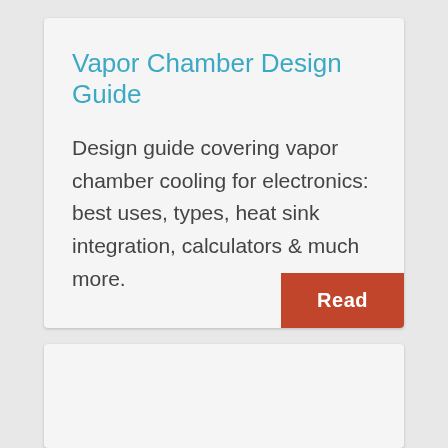Vapor Chamber Design Guide
Design guide covering vapor chamber cooling for electronics: best uses, types, heat sink integration, calculators & much more.